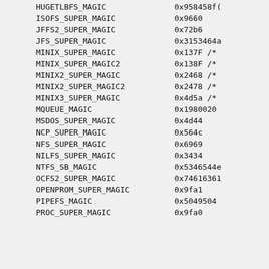HUGETLBFS_MAGIC    0x958458f0
ISOFS_SUPER_MAGIC    0x9660
JFFS2_SUPER_MAGIC    0x72b6
JFS_SUPER_MAGIC    0x3153464a
MINIX_SUPER_MAGIC    0x137F /*
MINIX_SUPER_MAGIC2    0x138F /*
MINIX2_SUPER_MAGIC    0x2468 /*
MINIX2_SUPER_MAGIC2    0x2478 /*
MINIX3_SUPER_MAGIC    0x4d5a /*
MQUEUE_MAGIC    0x19800202
MSDOS_SUPER_MAGIC    0x4d44
NCP_SUPER_MAGIC    0x564c
NFS_SUPER_MAGIC    0x6969
NILFS_SUPER_MAGIC    0x3434
NTFS_SB_MAGIC    0x5346544e
OCFS2_SUPER_MAGIC    0x7461636f
OPENPROM_SUPER_MAGIC    0x9fa1
PIPEFS_MAGIC    0x50495045
PROC_SUPER_MAGIC    0x9fa0